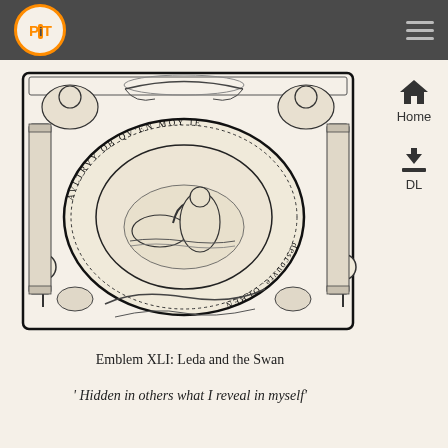PiT | Home | DL
[Figure (illustration): Antique woodcut emblem engraving: a decorative oval frame with ornate border containing Latin text around the circumference ('AULTRYY OB QV'EN MOY IE descouvre OLBEN'), with a central scene depicting Leda and the Swan. The frame is surrounded by elaborate Renaissance ornamental design with putti, scrollwork, festoons, and decorative elements including hand mirrors at lower corners.]
Emblem XLI: Leda and the Swan
' Hidden in others what I reveal in myself'